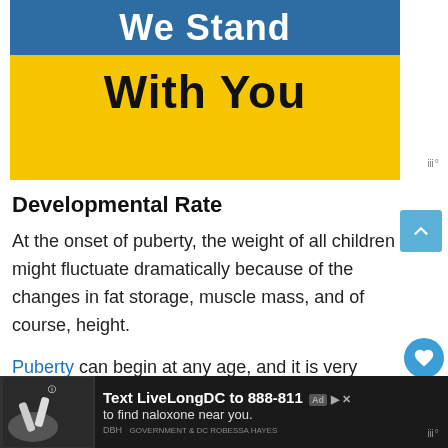[Figure (illustration): Banner with blue top section reading 'We Stand' in white bold text, and yellow bottom section reading 'With You' in large black bold text]
Developmental Rate
At the onset of puberty, the weight of all children might fluctuate dramatically because of the changes in fat storage, muscle mass, and of course, height.
Puberty can begin at any age, and it is very different for girls and boys. For example
[Figure (other): Advertisement banner: Text LiveLongDC to 888-811 to find naloxone near you. Dark background with image of hands holding a medical device.]